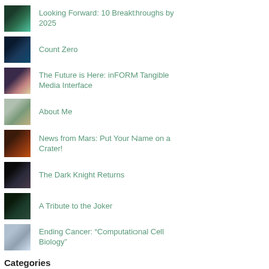Looking Forward: 10 Breakthroughs by 2025
Count Zero
The Future is Here: inFORM Tangible Media Interface
About Me
News from Mars: Put Your Name on a Crater!
The Dark Knight Returns
A Tribute to the Joker
Ending Cancer: “Computational Cell Biology”
Categories